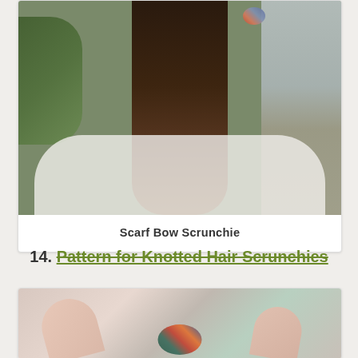[Figure (photo): Back view of a person with long dark brown hair wearing a white dress and a floral scrunchie, standing in a garden setting]
Scarf Bow Scrunchie
14. Pattern for Knotted Hair Scrunchies
[Figure (photo): Hands holding a multicolored knotted hair scrunchie with teal, red, and orange colors against a light background]